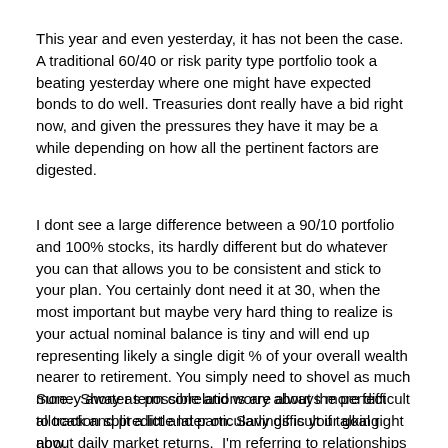This year and even yesterday, it has not been the case. A traditional 60/40 or risk parity type portfolio took a beating yesterday where one might have expected bonds to do well. Treasuries dont really have a bid right now, and given the pressures they have it may be a while depending on how all the pertinent factors are digested.
I dont see a large difference between a 90/10 portfolio and 100% stocks, its hardly different but do whatever you can that allows you to be consistent and stick to your plan. You certainly dont need it at 30, when the most important but maybe very hard thing to realize is your actual nominal balance is tiny and will end up representing likely a single digit % of your overall wealth nearer to retirement. You simply need to shovel as much money away as possible and worry about the perfect allocation split a little later on. Savings is your goal right now.
Click to expand...
Sure.  Shorter term correlations are always more difficult to track and predict and particularly difficult if talking about daily market returns.  I'm referring to relationships over a full...